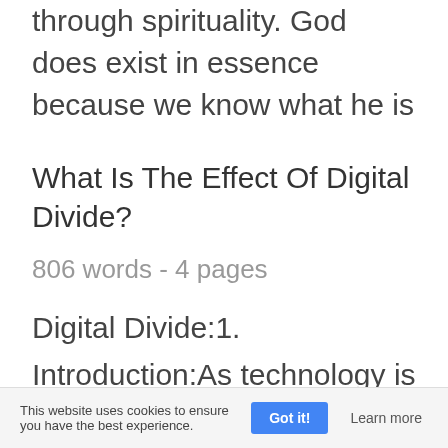through spirituality. God does exist in essence because we know what he is
What Is The Effect Of Digital Divide?
806 words - 4 pages
Digital Divide:1. Introduction:As technology is continuing to develop, large numbers of people are using the Internet to obtain information and this is increasing rapidly. Communication technology is providing a better system of exchanging information in
This website uses cookies to ensure you have the best experience. Got it! Learn more